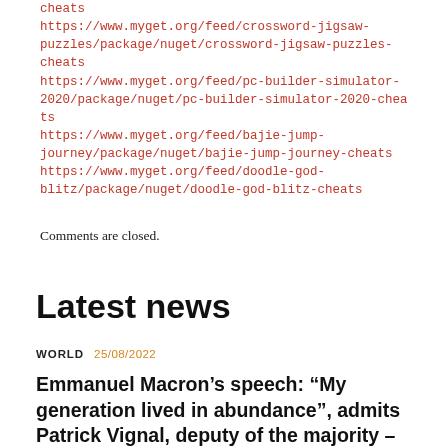cheats https://www.myget.org/feed/crossword-jigsaw-puzzles/package/nuget/crossword-jigsaw-puzzles-cheats
https://www.myget.org/feed/pc-builder-simulator-2020/package/nuget/pc-builder-simulator-2020-cheats
https://www.myget.org/feed/bajie-jump-journey/package/nuget/bajie-jump-journey-cheats
https://www.myget.org/feed/doodle-god-blitz/package/nuget/doodle-god-blitz-cheats
Comments are closed.
Latest news
WORLD  25/08/2022
Emmanuel Macron’s speech: “My generation lived in abundance”, admits Patrick Vignal, deputy of the majority – franceinfo